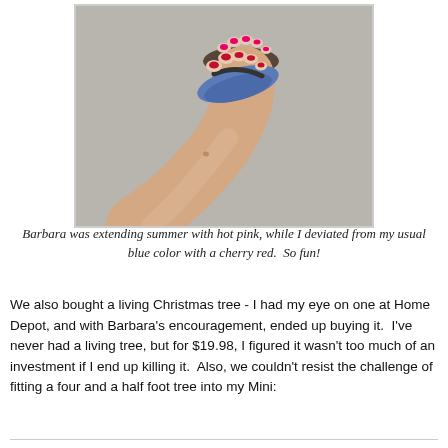[Figure (photo): Photo of two pairs of feet in flip-flops on a concrete surface, one with hot pink toenail polish and one with cherry red toenail polish]
Barbara was extending summer with hot pink, while I deviated from my usual blue color with a cherry red.  So fun!
We also bought a living Christmas tree - I had my eye on one at Home Depot, and with Barbara's encouragement, ended up buying it.  I've never had a living tree, but for $19.98, I figured it wasn't too much of an investment if I end up killing it.  Also, we couldn't resist the challenge of fitting a four and a half foot tree into my Mini: